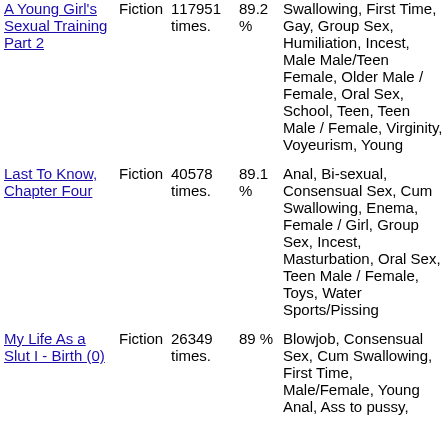| Title | Type | Count | Rating | Tags |
| --- | --- | --- | --- | --- |
| A Young Girl's Sexual Training Part 2 | Fiction | 117951 times. | 89.2 % | Swallowing, First Time, Gay, Group Sex, Humiliation, Incest, Male Male/Teen Female, Older Male / Female, Oral Sex, School, Teen, Teen Male / Female, Virginity, Voyeurism, Young |
| Last To Know, Chapter Four | Fiction | 40578 times. | 89.1 % | Anal, Bi-sexual, Consensual Sex, Cum Swallowing, Enema, Female / Girl, Group Sex, Incest, Masturbation, Oral Sex, Teen Male / Female, Toys, Water Sports/Pissing |
| My Life As a Slut I - Birth (0) | Fiction | 26349 times. | 89 % | Blowjob, Consensual Sex, Cum Swallowing, First Time, Male/Female, Young Anal, Ass to pussy, |